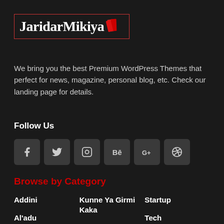[Figure (logo): JaridarMikiya logo with red book icon and red border outline]
We bring you the best Premium WordPress Themes that perfect for news, magazine, personal blog, etc. Check our landing page for details.
Follow Us
[Figure (infographic): Row of 6 social media icon buttons: Facebook, Twitter, Instagram, Behance, Google+, Dribbble]
Browse by Category
Addini
Al'adu
Alqur'ani Tafarkin Tsira
Fina Finai
Kunne Ya Girmi Kaka
Labarai
Lafiya
Mata
Startup
Tech
Travel
Tsaro
Tsegumi